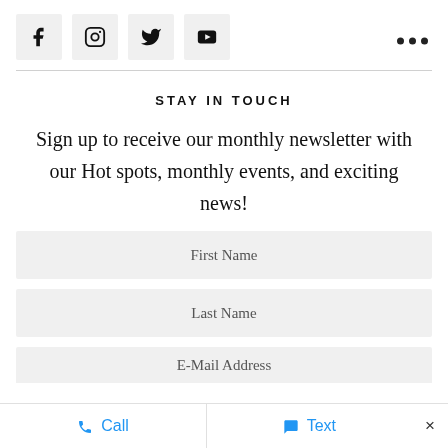[Figure (infographic): Row of four social media icon buttons (Facebook, Instagram, Twitter, YouTube) in light gray square boxes, with a three-dot menu icon on the far right]
STAY IN TOUCH
Sign up to receive our monthly newsletter with our Hot spots, monthly events, and exciting news!
First Name
Last Name
E-Mail Address
Call   Text   ×